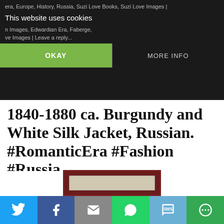era, Europe, History, Russia, Suzi Love Books, Suzi Love Images | This website uses cookies | Edwardian Era, Faberge, | Suzi Love Images | Leave a reply... | OKAY | MORE INFO
1840-1880 ca. Burgundy and White Silk Jacket, Russian. #RomanticEra #Fashion #Russia
Posted on March 8, 2022 by Suzi Love
1840-1880 ca. Burgundy and White Silk Jacket, Russian. #Romantic #Fashion #Russia via suzilove.com and Metropolitan Museum New York City, U.S.A.  metmuseum.org
[Figure (photo): Partial image of a burgundy and white silk jacket preview at bottom of page]
Social share bar: Twitter, Facebook, Email, WhatsApp, SMS, More